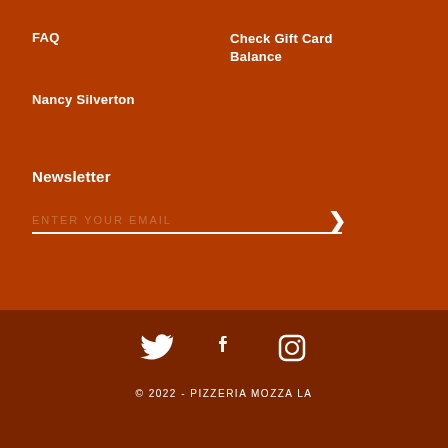FAQ
Check Gift Card Balance
Nancy Silverton
Newsletter
ENTER YOUR EMAIL
[Figure (infographic): Social media icons: Twitter bird, Facebook F, Instagram camera]
© 2022 - PIZZERIA MOZZA LA